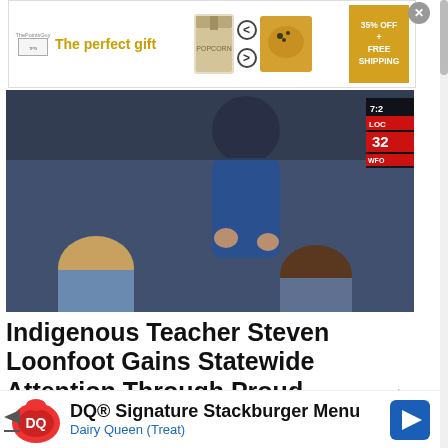[Figure (advertisement): Top banner ad for 'The perfect gift' from ThePointsGuy or similar, showing popcorn gift box and bowl with navigation arrows, and '35% OFF + FREE SHIPPING' promo box on the right.]
[Figure (photo): Video thumbnail of an Indigenous teacher (Steven Loonfoot) with students in a classroom, wearing a blue sweater, interacting with children. TV station watermark showing 7:2x, LOCx, 32, WFOx in top-right corner.]
Indigenous Teacher Steven Loonfoot Gains Statewide Attention Through Proud Educators Series
TRENDING NOW
[Figure (photo): Dark thumbnail image for trending content, mostly black with a small golden/orange object visible at bottom center.]
[Figure (advertisement): Bottom banner ad for Dairy Queen - DQ Signature Stackburger Menu, with DQ logo on left, Dairy Queen (Treat) text in blue, and blue navigation arrow icon on right.]